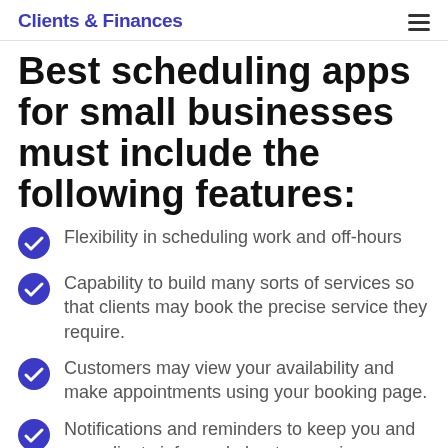Clients & Finances
Best scheduling apps for small businesses must include the following features:
Flexibility in scheduling work and off-hours
Capability to build many sorts of services so that clients may book the precise service they require.
Customers may view your availability and make appointments using your booking page.
Notifications and reminders to keep you and your clients informed about upcoming appointments